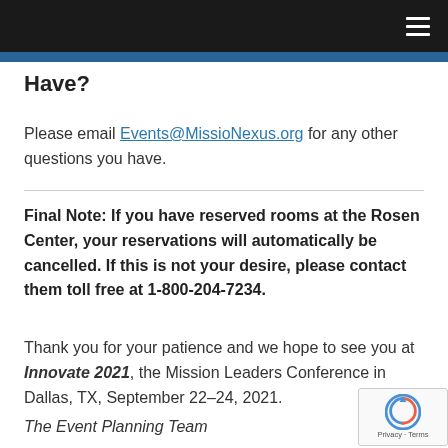(navigation bar with hamburger menu)
Have?
Please email Events@MissioNexus.org for any other questions you have.
Final Note: If you have reserved rooms at the Rosen Center, your reservations will automatically be cancelled. If this is not your desire, please contact them toll free at 1-800-204-7234.
Thank you for your patience and we hope to see you at Innovate 2021, the Mission Leaders Conference in Dallas, TX, September 22–24, 2021.
The Event Planning Team